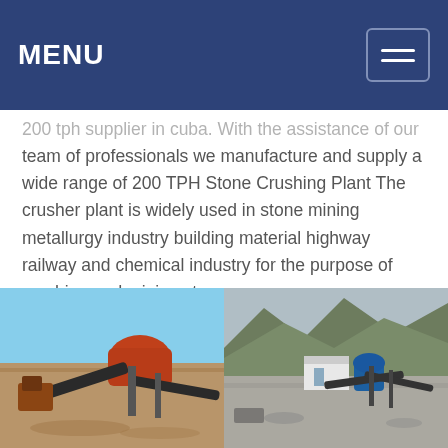MENU
200 tph supplier in cuba. With the assistance of our team of professionals we manufacture and supply a wide range of 200 TPH Stone Crushing Plant The crusher plant is widely used in stone mining metallurgy industry building material highway railway and chemical industry for the purpose of crushing and mining stones
[Figure (photo): Two photos of stone crushing plant equipment. Left: industrial crusher machinery with conveyor belts on open ground under blue sky. Right: stone crushing plant setup in a mountainous quarry area.]